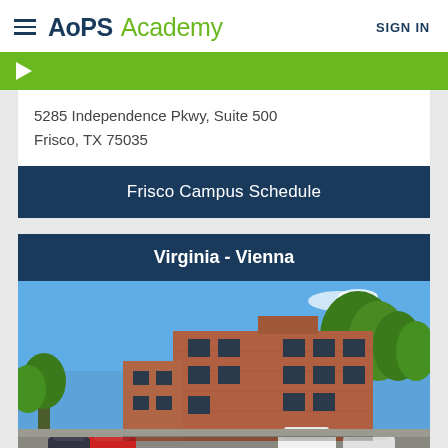AoPS Academy — SIGN IN
[Figure (illustration): Green banner with white play button arrow]
5285 Independence Pkwy, Suite 500
Frisco, TX 75035
Frisco Campus Schedule
Virginia - Vienna
[Figure (photo): Exterior photo of a three-story red brick office building with cars parked in front and trees on right side, blue sky background — Virginia Vienna campus of AoPS Academy]